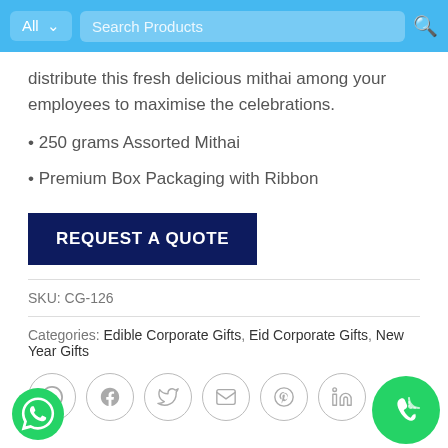[Figure (screenshot): Blue search bar at top with 'All' dropdown, 'Search Products' input, and magnifying glass icon]
distribute this fresh delicious mithai among your employees to maximise the celebrations.
• 250 grams Assorted Mithai
• Premium Box Packaging with Ribbon
REQUEST A QUOTE
SKU: CG-126
Categories: Edible Corporate Gifts, Eid Corporate Gifts, New Year Gifts
[Figure (illustration): Row of six social sharing icons: WhatsApp, Facebook, Twitter, Email, Pinterest, LinkedIn — all circular with grey border]
[Figure (logo): Green WhatsApp icon bottom-left]
[Figure (logo): Large green phone/call icon bottom-right]